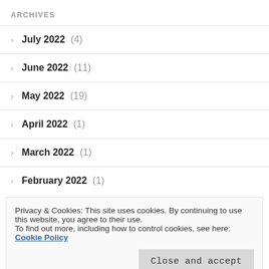ARCHIVES
July 2022 (4)
June 2022 (11)
May 2022 (19)
April 2022 (1)
March 2022 (1)
February 2022 (1)
Privacy & Cookies: This site uses cookies. By continuing to use this website, you agree to their use. To find out more, including how to control cookies, see here: Cookie Policy
July 2021 (11)